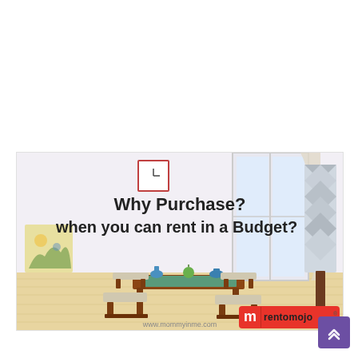[Figure (illustration): Rentomojo advertisement showing a furnished room with a wooden coffee table and stools set, wall clock, artwork, and floor lamp. Text reads 'Why Purchase? when you can rent in a Budget?' with Rentomojo logo and www.mommyinme.com watermark.]